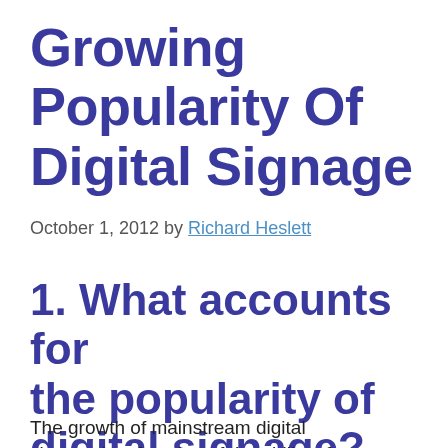Growing Popularity Of Digital Signage
October 1, 2012 by Richard Heslett
1. What accounts for the popularity of digital signage?
The growth of mainstream digital signage is a function of the ability of